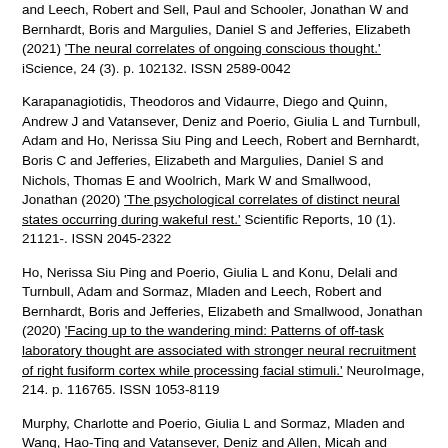and Leech, Robert and Sell, Paul and Schooler, Jonathan W and Bernhardt, Boris and Margulies, Daniel S and Jefferies, Elizabeth (2021) 'The neural correlates of ongoing conscious thought.' iScience, 24 (3). p. 102132. ISSN 2589-0042
Karapanagiotidis, Theodoros and Vidaurre, Diego and Quinn, Andrew J and Vatansever, Deniz and Poerio, Giulia L and Turnbull, Adam and Ho, Nerissa Siu Ping and Leech, Robert and Bernhardt, Boris C and Jefferies, Elizabeth and Margulies, Daniel S and Nichols, Thomas E and Woolrich, Mark W and Smallwood, Jonathan (2020) 'The psychological correlates of distinct neural states occurring during wakeful rest.' Scientific Reports, 10 (1). 21121-. ISSN 2045-2322
Ho, Nerissa Siu Ping and Poerio, Giulia L and Konu, Delali and Turnbull, Adam and Sormaz, Mladen and Leech, Robert and Bernhardt, Boris and Jefferies, Elizabeth and Smallwood, Jonathan (2020) 'Facing up to the wandering mind: Patterns of off-task laboratory thought are associated with stronger neural recruitment of right fusiform cortex while processing facial stimuli.' NeuroImage, 214. p. 116765. ISSN 1053-8119
Murphy, Charlotte and Poerio, Giulia L and Sormaz, Mladen and Wang, Hao-Ting and Vatansever, Deniz and Allen, Micah and Margulies, Daniel